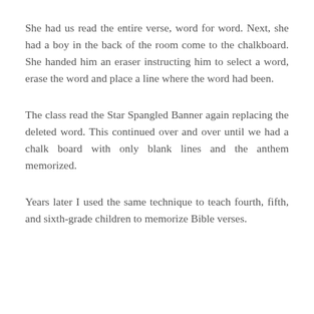She had us read the entire verse, word for word. Next, she had a boy in the back of the room come to the chalkboard. She handed him an eraser instructing him to select a word, erase the word and place a line where the word had been.
The class read the Star Spangled Banner again replacing the deleted word. This continued over and over until we had a chalk board with only blank lines and the anthem memorized.
Years later I used the same technique to teach fourth, fifth, and sixth-grade children to memorize Bible verses.